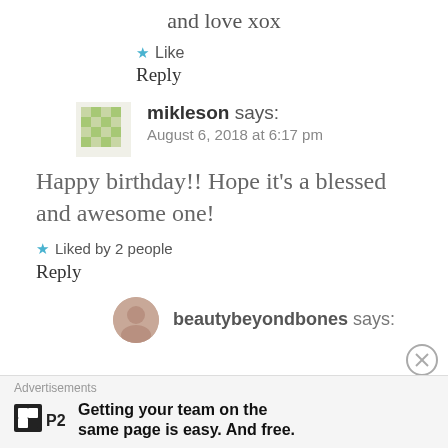and love xox
★ Like
Reply
mikleson says:
August 6, 2018 at 6:17 pm
Happy birthday!! Hope it's a blessed and awesome one!
★ Liked by 2 people
Reply
beautybeyondbones says:
Advertisements
Getting your team on the same page is easy. And free.